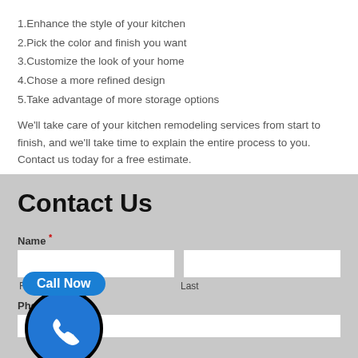1.Enhance the style of your kitchen
2.Pick the color and finish you want
3.Customize the look of your home
4.Chose a more refined design
5.Take advantage of more storage options
We'll take care of your kitchen remodeling services from start to finish, and we'll take time to explain the entire process to you. Contact us today for a free estimate.
Contact Us
Name * First Last
Phone
[Figure (other): Call Now button with phone icon in a blue circle with black border]